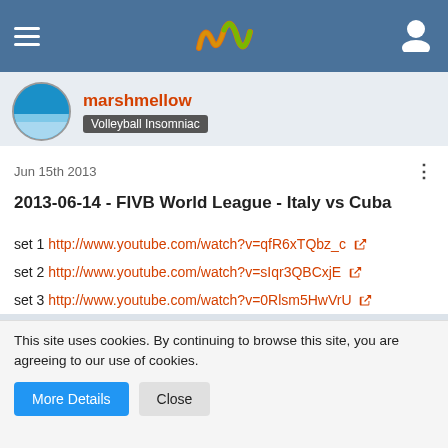marshmellow - Volleyball Insomniac
Jun 15th 2013
2013-06-14 - FIVB World League - Italy vs Cuba
set 1 http://www.youtube.com/watch?v=qfR6xTQbz_c
set 2 http://www.youtube.com/watch?v=sIqr3QBCxjE
set 3 http://www.youtube.com/watch?v=0Rlsm5HwVrU
Wizard
This site uses cookies. By continuing to browse this site, you are agreeing to our use of cookies.